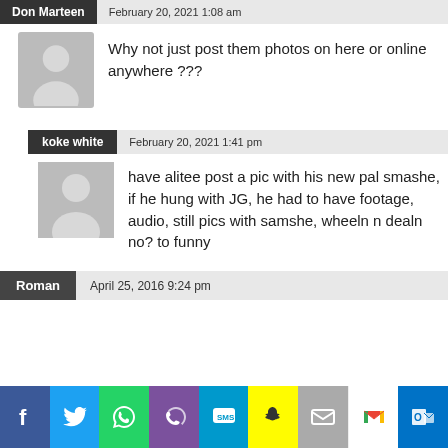Don Marteen   February 20, 2021 1:08 am
Why not just post them photos on here or online anywhere ???
koke white   February 20, 2021 1:41 pm
have alitee post a pic with his new pal smashe, if he hung with JG, he had to have footage, audio, still pics with samshe, wheeln n dealn no? to funny
Roman   April 25, 2016 9:24 pm
[Figure (infographic): Social media share bar with buttons for Facebook, Twitter, WhatsApp, Phone, SMS, Snapchat, Email, Gmail, Outlook]